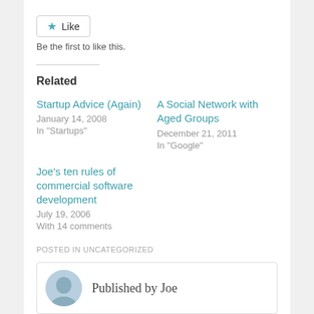Like
Be the first to like this.
Related
Startup Advice (Again)
January 14, 2008
In "Startups"
A Social Network with Aged Groups
December 21, 2011
In "Google"
Joe's ten rules of commercial software development
July 19, 2006
With 14 comments
POSTED IN UNCATEGORIZED
Published by Joe